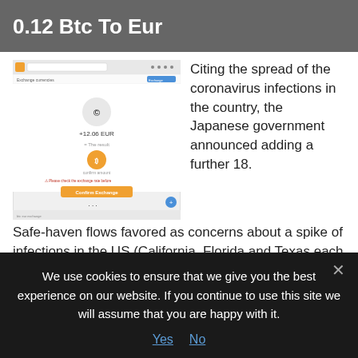0.12 Btc To Eur
[Figure (screenshot): Browser/app screenshot showing an Exchange currencies interface with a Bitcoin to EUR conversion, displaying approximately +12.06 EUR and a yellow/orange confirm button]
Citing the spread of the coronavirus infections in the country, the Japanese government announced adding a further 18.
Safe-haven flows favored as concerns about a spike of infections in the US (California, Florida and Texas each hit
We use cookies to ensure that we give you the best experience on our website. If you continue to use this site we will assume that you are happy with it.
Yes   No